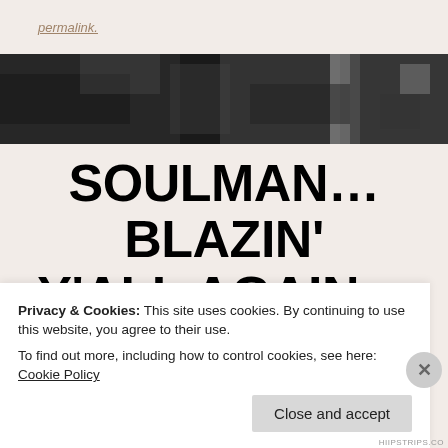permalink.
[Figure (photo): Black and white photograph strip showing figures, partially cropped]
SOULMAN… BLAZIN' Y'ALL AGAIN… WORLD OF BEATS, KID
Privacy & Cookies: This site uses cookies. By continuing to use this website, you agree to their use.
To find out more, including how to control cookies, see here: Cookie Policy
Close and accept